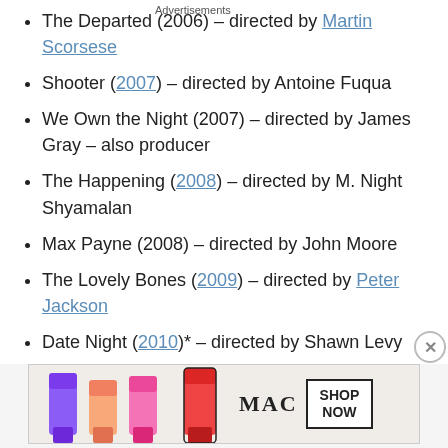The Departed (2006) – directed by Martin Scorsese
Shooter (2007) – directed by Antoine Fuqua
We Own the Night (2007) – directed by James Gray – also producer
The Happening (2008) – directed by M. Night Shyamalan
Max Payne (2008) – directed by John Moore
The Lovely Bones (2009) – directed by Peter Jackson
Date Night (2010)* – directed by Shawn Levy
The Other Guys (2010)* – directed by Adam McKay
The Fighter (2010) – directed by David O...
Advertisements
[Figure (photo): MAC cosmetics advertisement banner showing lipsticks in purple, peach, and pink/red colors with MAC logo and SHOP NOW button]